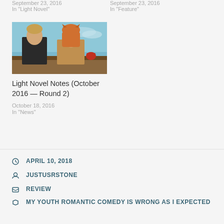September 23, 2016
In "Light Novel"
September 23, 2016
In "Feature"
[Figure (illustration): Anime illustration showing two characters, a male in dark clothing and a female with orange hair, set against a teal sky background]
Light Novel Notes (October 2016 — Round 2)
October 18, 2016
In "News"
APRIL 10, 2018
JUSTUSRSTONE
REVIEW
MY YOUTH ROMANTIC COMEDY IS WRONG AS I EXPECTED